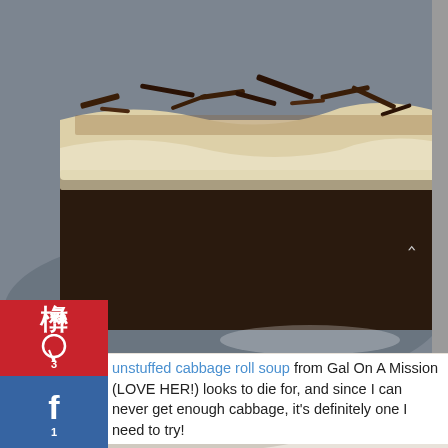[Figure (photo): A slice of dark chocolate cake topped with cream frosting and chocolate shavings, served on a grey plate]
[Figure (photo): Social media share buttons: Pinterest (3), Facebook (1), Twitter]
unstuffed cabbage roll soup from Gal On A Mission (LOVE HER!) looks to die for, and since I can never get enough cabbage, it’s definitely one I need to try!
[Figure (photo): Bowl of unstuffed cabbage roll soup with vegetables, labeled 'unstuffed cabbage roll soup' in green italic text]